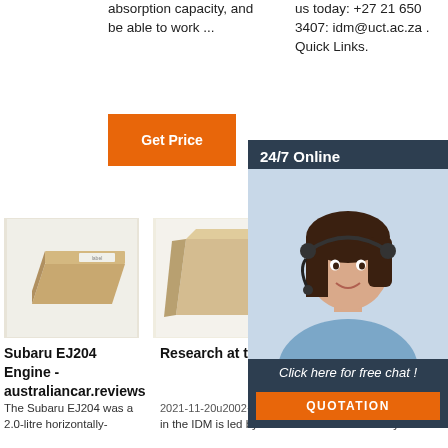absorption capacity, and be able to work ...
us today: +27 21 650 3407: idm@uct.ac.za . Quick Links.
[Figure (photo): Orange 'Get Price' button]
[Figure (photo): Orange 'Get' button partially visible]
[Figure (photo): 24/7 Online chat panel with woman wearing headset, 'Click here for free chat!' text, and orange QUOTATION button]
[Figure (photo): Beige/tan refractory brick product image (left)]
[Figure (photo): Sandy/tan wedge-shaped refractory brick product image (middle)]
[Figure (photo): Grey block product image (right)]
Subaru EJ204 Engine - australiancar.reviews
Research at the IDM
Subaru FB25 Engine - australiancar.reviews
2021-11-20u2002·u2002Research in the IDM is led by over 34
The Subaru EJ204 was a 2.0-litre horizontally-
Subaru's FB25 was a 2.5-litre horizontally-